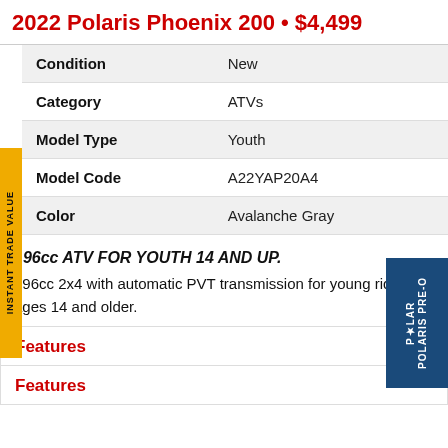2022 Polaris Phoenix 200 • $4,499
| Attribute | Value |
| --- | --- |
| Condition | New |
| Category | ATVs |
| Model Type | Youth |
| Model Code | A22YAP20A4 |
| Color | Avalanche Gray |
196cc ATV FOR YOUTH 14 AND UP.
196cc 2x4 with automatic PVT transmission for young riders ages 14 and older.
Features
Features